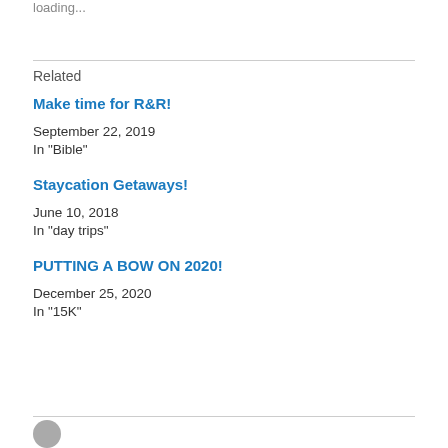loading...
Related
Make time for R&R!
September 22, 2019
In "Bible"
Staycation Getaways!
June 10, 2018
In "day trips"
PUTTING A BOW ON 2020!
December 25, 2020
In "15K"